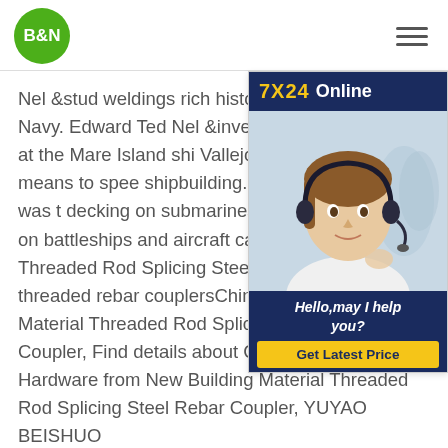B&N
[Figure (photo): Customer service representative with headset, smiling. Overlay widget with '7X24 Online' header, photo of agent, 'Hello, may I help you?' text, and 'Get Latest Price' button.]
Nel &stud weldings rich history began in the U.S. Navy. Edward Ted Nel &invented the welding process at the Mare Island shipyard in Vallejo, California, as a means to speed up shipbuilding. The first application was to decking on submarines, but was quickly used on battleships and aircraft carriers. Building Material Threaded Rod Splicing Steel Rebar new style threaded rebar couplersChina New Building Material Threaded Rod Splicing Steel Rebar Coupler, Find details about China Fastener, Hardware from New Building Material Threaded Rod Splicing Steel Rebar Coupler, YUYAO BEISHUO